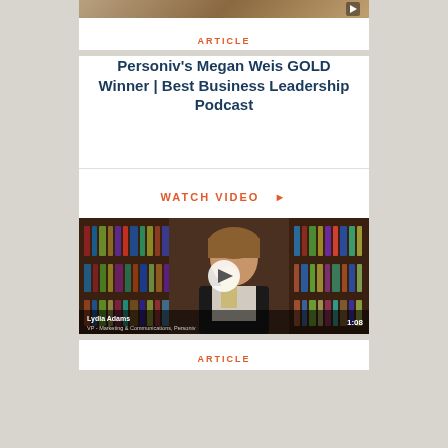[Figure (screenshot): Top of article card showing a video thumbnail strip with a play icon in the upper right corner]
ARTICLE
Personiv's Megan Weis GOLD Winner | Best Business Leadership Podcast
WATCH VIDEO ▶
[Figure (screenshot): Video thumbnail showing Lydia Adams, VP - Marketing & Communications, Personiv, sitting in front of a bookshelf. A play button is overlaid in the center. Duration shows 1:08.]
ARTICLE